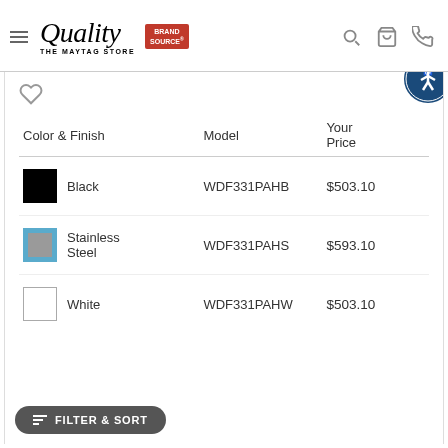Quality The Maytag Store — Brand Source
| Color & Finish | Model | Your Price |
| --- | --- | --- |
| Black | WDF331PAHB | $503.10 |
| Stainless Steel | WDF331PAHS | $593.10 |
| White | WDF331PAHW | $503.10 |